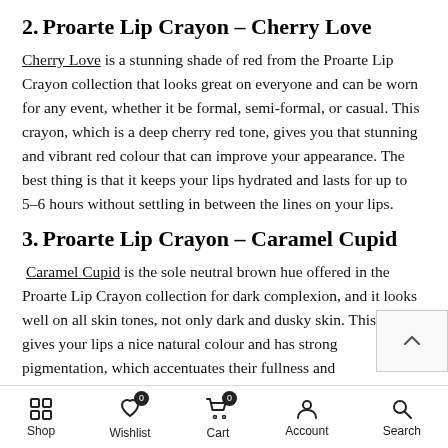2. Proarte Lip Crayon – Cherry Love
Cherry Love is a stunning shade of red from the Proarte Lip Crayon collection that looks great on everyone and can be worn for any event, whether it be formal, semi-formal, or casual. This crayon, which is a deep cherry red tone, gives you that stunning and vibrant red colour that can improve your appearance. The best thing is that it keeps your lips hydrated and lasts for up to 5–6 hours without settling in between the lines on your lips.
3. Proarte Lip Crayon – Caramel Cupid
Caramel Cupid is the sole neutral brown hue offered in the Proarte Lip Crayon collection for dark complexion, and it looks well on all skin tones, not only dark and dusky skin. This shade gives your lips a nice natural colour and has strong pigmentation, which accentuates their fullness and
Shop | Wishlist | Cart | Account | Search